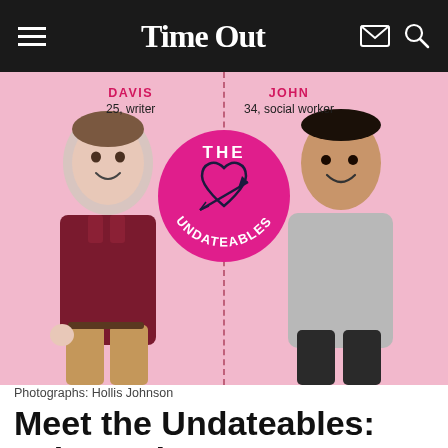Time Out
[Figure (photo): Two men posed against a pink background. Left: Davis, 25, writer, wearing dark red shirt and tan pants. Right: John, 34, social worker, wearing grey sweatshirt. Center: 'The Undateables' circular logo badge in pink with heart and arrow graphic.]
Photographs: Hollis Johnson
Meet the Undateables: John and